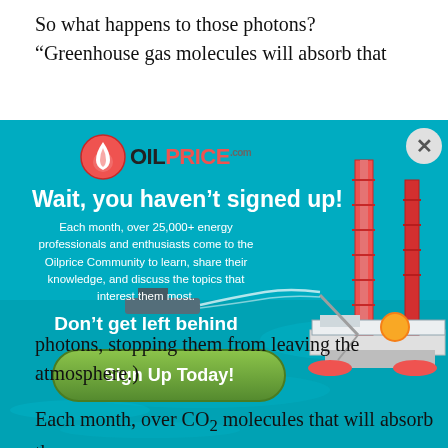So what happens to those photons?
“Greenhouse gas molecules will absorb that
[Figure (screenshot): OilPrice.com advertisement popup with modal overlay. Shows OilPrice logo (red/orange oil drop + 'OILPRICE' text), headline 'Wait, you haven’t signed up!', body text 'Each month, over 25,000+ energy professionals and enthusiasts come to the Oilprice Community to learn, share their knowledge, and discuss the topics that interest them most.', subheading 'Don’t get left behind', green 'Sign Up Today!' button, and close X button. Background shows a photo of an oil rig at sea with blue water.]
photons, stopping them from leaving the atmosphere.)
Each month, over 25,000+ energy professionals and enthusiasts come to the Oilprice Community to learn, share their knowledge, and discuss the topics that interest them most.